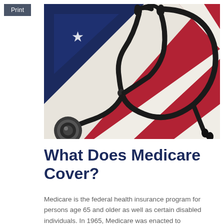Print
[Figure (photo): A stethoscope resting on an American flag, showing red, white, and blue stripes and a star, with a black stethoscope prominently displayed on top.]
What Does Medicare Cover?
Medicare is the federal health insurance program for persons age 65 and older as well as certain disabled individuals. In 1965, Medicare was enacted to